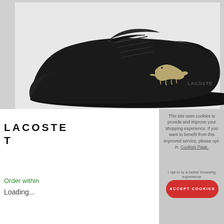[Figure (photo): Black Lacoste leather sneaker/trainer shoe displayed on white background, side profile view showing gold/khaki Lacoste crocodile logo on the side and Lacoste branding on the heel. All-black colorway with laces.]
LACOSTE T
Order within
Loading...
This site uses cookies to provide and improve your shopping experience. If you want to benefit from this improved service, please opt-in. Cookies Page.
I opt-in to a better browsing experience
ACCEPT COOKIES